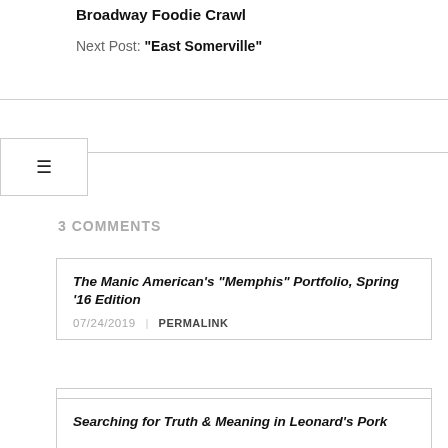Broadway Foodie Crawl
Next Post: “East Somerville”
3 COMMENTS
The Manic American's "Memphis" Portfolio, Spring ’16 Edition
07/24/2019 | PERMALINK
Memphis Dive Bar Adventures: Bar-B-Brawl at the Bar That Never Closes / The Manic American
01/07/2018 | PERMALINK
Searching for Truth & Meaning in Leonard’s Pork